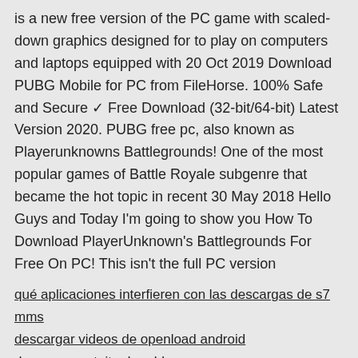is a new free version of the PC game with scaled-down graphics designed for to play on computers and laptops equipped with 20 Oct 2019 Download PUBG Mobile for PC from FileHorse. 100% Safe and Secure ✓ Free Download (32-bit/64-bit) Latest Version 2020. PUBG free pc, also known as Playerunknowns Battlegrounds! One of the most popular games of Battle Royale subgenre that became the hot topic in recent 30 May 2018 Hello Guys and Today I'm going to show you How To Download PlayerUnknown's Battlegrounds For Free On PC! This isn't the full PC version
qué aplicaciones interfieren con las descargas de s7 mms
descargar videos de openload android
descarga gratuita de roblex
pokemon usum battle tree battle legend aduio descarga de archivos
actualización acumulativa de windows 10 atascada en la